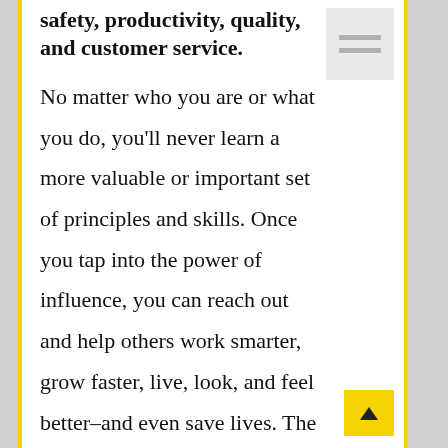safety, productivity, quality, and customer service.
No matter who you are or what you do, you'll never learn a more valuable or important set of principles and skills. Once you tap into the power of influence, you can reach out and help others work smarter, grow faster, live, look, and feel better–and even save lives. The sky is the limit . . . for an Influencer.